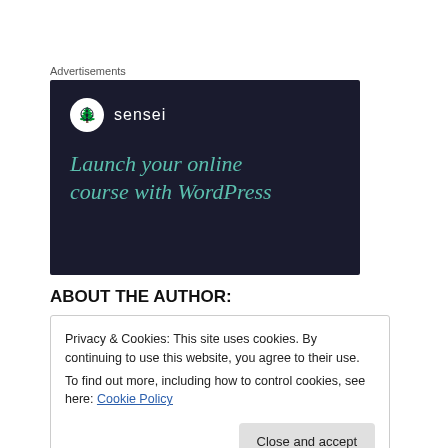Advertisements
[Figure (other): Sensei advertisement banner on dark navy background. Shows Sensei logo (white circle with bonsai tree icon) and the text 'Launch your online course with WordPress' in teal/green italic serif font.]
ABOUT THE AUTHOR:
Privacy & Cookies: This site uses cookies. By continuing to use this website, you agree to their use.
To find out more, including how to control cookies, see here: Cookie Policy
Close and accept